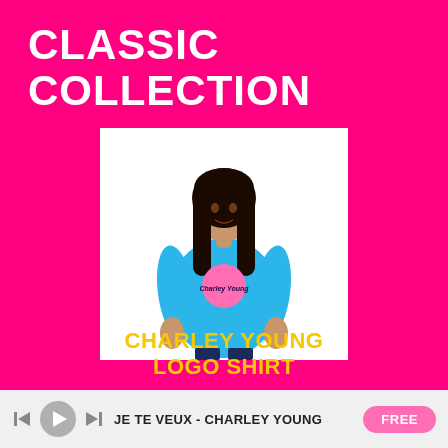CLASSIC COLLECTION
[Figure (photo): Woman wearing a blue v-neck t-shirt with a pink circle logo reading 'Charley Young' on the front, posing against a white background]
CHARLEY YOUNG LOGO SHIRT
JE TE VEUX - CHARLEY YOUNG   FREE